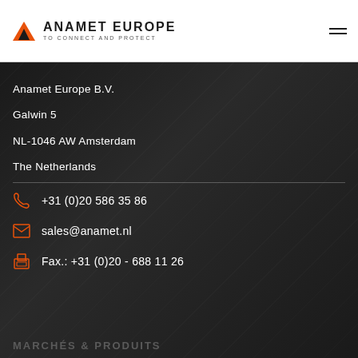ANAMET EUROPE / TO CONNECT AND PROTECT
Anamet Europe B.V.
Galwin 5
NL-1046 AW Amsterdam
The Netherlands
+31 (0)20 586 35 86
sales@anamet.nl
Fax.: +31 (0)20 - 688 11 26
MARCHÉS & PRODUITS